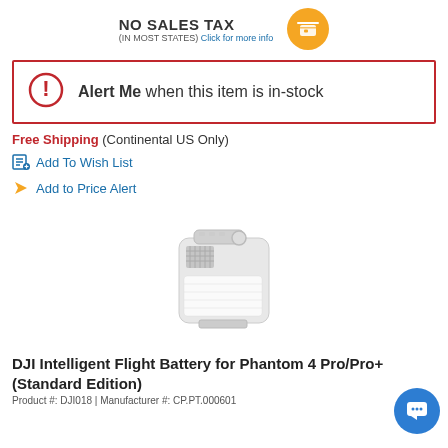[Figure (infographic): NO SALES TAX (IN MOST STATES) Click for more info text with an orange circular money icon on the right]
Alert Me when this item is in-stock
Free Shipping (Continental US Only)
Add To Wish List
Add to Price Alert
[Figure (photo): DJI Intelligent Flight Battery for Phantom 4 Pro - white rectangular battery unit]
DJI Intelligent Flight Battery for Phantom 4 Pro/Pro+ (Standard Edition)
Product #: DJI018 | Manufacturer #: CP.PT.000601